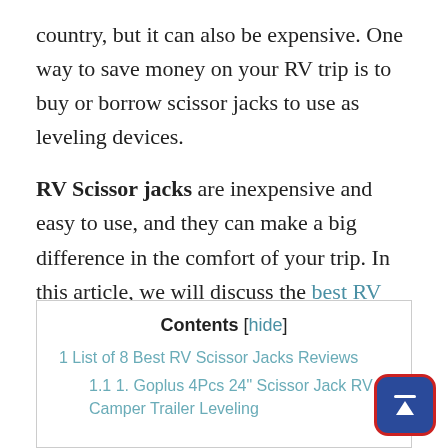country, but it can also be expensive. One way to save money on your RV trip is to buy or borrow scissor jacks to use as leveling devices.
RV Scissor jacks are inexpensive and easy to use, and they can make a big difference in the comfort of your trip. In this article, we will discuss the best RV scissor jacks for getting your rig level without breaking the bank.
| Contents |
| --- |
| 1 List of 8 Best RV Scissor Jacks Reviews |
| 1.1 1. Goplus 4Pcs 24" Scissor Jack RV Camper Trailer Leveling |